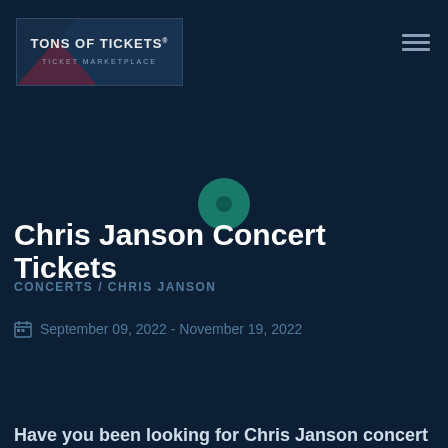[Figure (logo): Tons of Tickets logo with triangular graphic element on dark navy background]
[Figure (illustration): Circular teal/green artist icon with a small dot in center]
Chris Janson Concert Tickets
CONCERTS / CHRIS JANSON
September 09, 2022 - November 19, 2022
Have you been looking for Chris Janson concert...